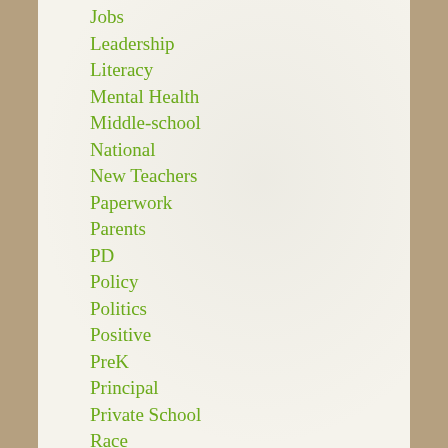Jobs
Leadership
Literacy
Mental Health
Middle-school
National
New Teachers
Paperwork
Parents
PD
Policy
Politics
Positive
PreK
Principal
Private School
Race
Relationships
Safety
Social Emotional Health
Sports